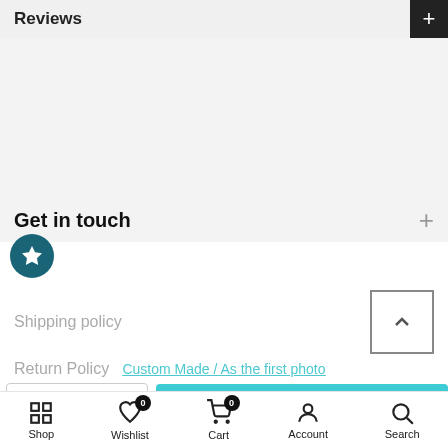Reviews
Get in touch
Shipping policy
Return Policy
Custom Made / As the first photo
- 1 + ADD TO CART
Shop  Wishlist 0  Cart 0  Account  Search